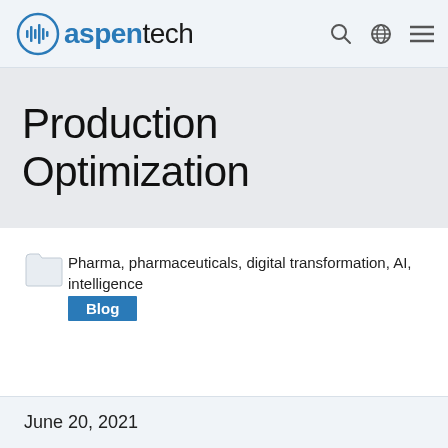aspentech
Production Optimization
Pharma, pharmaceuticals, digital transformation, AI, intelligence
Blog
June 20, 2021